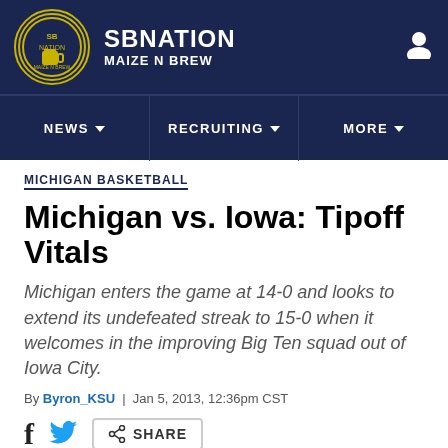SBNATION MAIZE N BREW
MICHIGAN BASKETBALL
Michigan vs. Iowa: Tipoff Vitals
Michigan enters the game at 14-0 and looks to extend its undefeated streak to 15-0 when it welcomes in the improving Big Ten squad out of Iowa City.
By Byron_KSU | Jan 5, 2013, 12:36pm CST